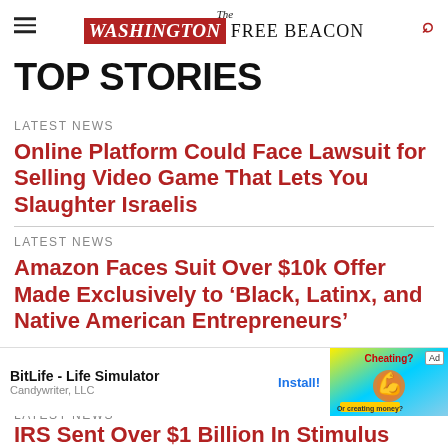The Washington Free Beacon
TOP STORIES
LATEST NEWS
Online Platform Could Face Lawsuit for Selling Video Game That Lets You Slaughter Israelis
LATEST NEWS
Amazon Faces Suit Over $10k Offer Made Exclusively to ‘Black, Latinx, and Native American Entrepreneurs’
[Figure (screenshot): Advertisement for BitLife - Life Simulator app by Candywriter, LLC with Install button and colorful game image]
LATEST NEWS
IRS Sent Over $1 Billion In Stimulus